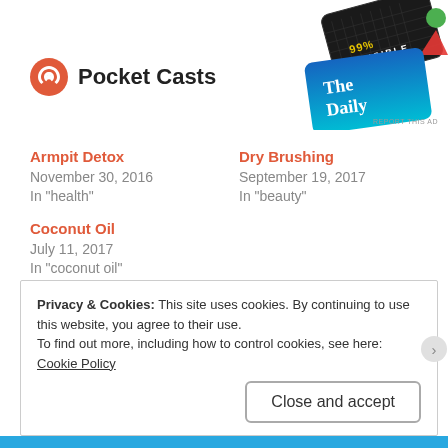[Figure (logo): Pocket Casts logo with red spiral icon and bold text]
[Figure (screenshot): Ad image showing podcast covers including 99% Invisible and The Daily]
REPORT THIS AD
Armpit Detox
November 30, 2016
In "health"
Dry Brushing
September 19, 2017
In "beauty"
Coconut Oil
July 11, 2017
In "coconut oil"
Privacy & Cookies: This site uses cookies. By continuing to use this website, you agree to their use.
To find out more, including how to control cookies, see here: Cookie Policy
Close and accept